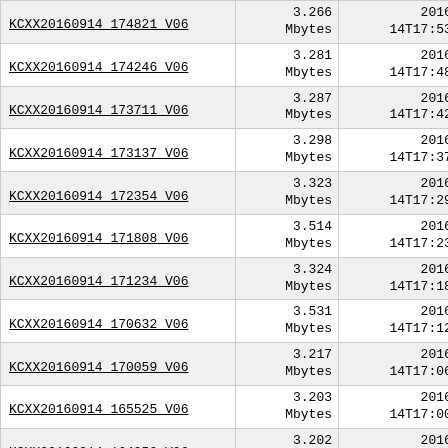| Filename | Size | Date |
| --- | --- | --- |
| KCXX20160914 174821 V06 | 3.266 Mbytes | 2016-09-14T17:53:51Z |
| KCXX20160914 174246 V06 | 3.281 Mbytes | 2016-09-14T17:48:15Z |
| KCXX20160914 173711 V06 | 3.287 Mbytes | 2016-09-14T17:42:40Z |
| KCXX20160914 173137 V06 | 3.298 Mbytes | 2016-09-14T17:37:05Z |
| KCXX20160914 172354 V06 | 3.323 Mbytes | 2016-09-14T17:29:23Z |
| KCXX20160914 171808 V06 | 3.514 Mbytes | 2016-09-14T17:23:50Z |
| KCXX20160914 171234 V06 | 3.324 Mbytes | 2016-09-14T17:18:03Z |
| KCXX20160914 170632 V06 | 3.531 Mbytes | 2016-09-14T17:12:28Z |
| KCXX20160914 170059 V06 | 3.217 Mbytes | 2016-09-14T17:06:27Z |
| KCXX20160914 165525 V06 | 3.203 Mbytes | 2016-09-14T17:00:54Z |
| KCXX20160914 164952 V06 | 3.202 Mbytes | 2016-09-14T16:55:20Z |
| KCXX20160914 164417 V06 | 3.222 Mbytes | 2016-09-14T16:49:45Z |